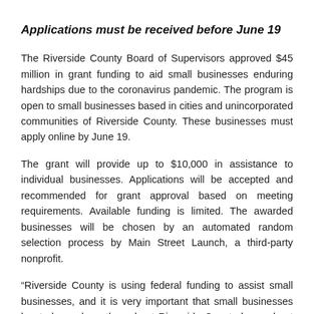Applications must be received before June 19
The Riverside County Board of Supervisors approved $45 million in grant funding to aid small businesses enduring hardships due to the coronavirus pandemic. The program is open to small businesses based in cities and unincorporated communities of Riverside County. These businesses must apply online by June 19.
The grant will provide up to $10,000 in assistance to individual businesses. Applications will be accepted and recommended for grant approval based on meeting requirements. Available funding is limited. The awarded businesses will be chosen by an automated random selection process by Main Street Launch, a third-party nonprofit.
“Riverside County is using federal funding to assist small businesses, and it is very important that small businesses located anywhere throughout Riverside County learn about this